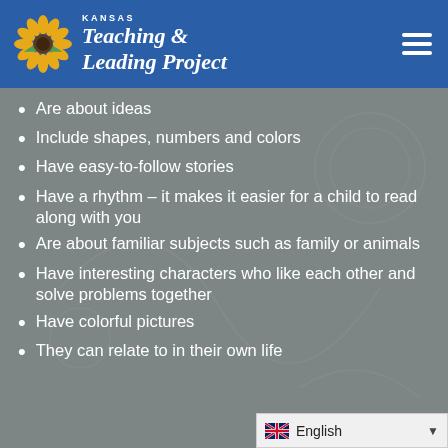KANSAS Teaching & Leading Project
Are about ideas
Include shapes, numbers and colors
Have easy-to-follow stories
Have a rhythm – it makes it easier for a child to read along with you
Are about familiar subjects such as family or animals
Have interesting characters who like each other and solve problems together
Have colorful pictures
They can relate to in their own life